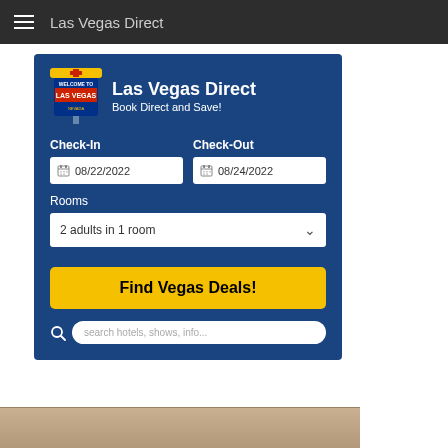Las Vegas Direct
[Figure (screenshot): Las Vegas Direct hotel booking widget with blue background, logo, check-in/check-out date fields (08/22/2022 and 08/24/2022), rooms selector (2 adults in 1 room), Find Vegas Deals! button, and search bar]
[Figure (photo): Partial image of a Las Vegas hotel or resort at bottom of page]